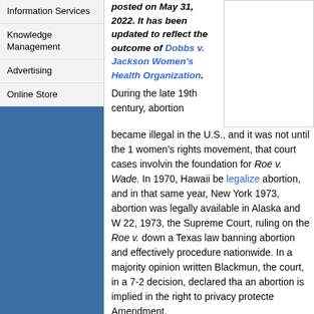Information Services
Knowledge Management
Advertising
Online Store
posted on May 31, 2022. It has been updated to reflect the outcome of Dobbs v. Jackson Women's Health Organization.
During the late 19th century, abortion became illegal in the U.S., and it was not until the 1 women's rights movement, that court cases involvin the foundation for Roe v. Wade. In 1970, Hawaii be legalize abortion, and in that same year, New York 1973, abortion was legally available in Alaska and W 22, 1973, the Supreme Court, ruling on the Roe v. down a Texas law banning abortion and effectively procedure nationwide. In a majority opinion written Blackmun, the court, in a 7-2 decision, declared tha an abortion is implied in the right to privacy protecte Amendment.